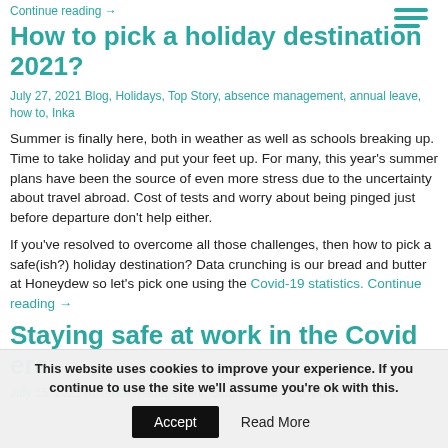Continue reading →
How to pick a holiday destination 2021?
July 27, 2021 Blog, Holidays, Top Story, absence management, annual leave, how to, Inka
Summer is finally here, both in weather as well as schools breaking up. Time to take holiday and put your feet up. For many, this year's summer plans have been the source of even more stress due to the uncertainty about travel abroad. Cost of tests and worry about being pinged just before departure don't help either.
If you've resolved to overcome all those challenges, then how to pick a safe(ish?) holiday destination? Data crunching is our bread and butter at Honeydew so let's pick one using the Covid-19 statistics. Continue reading →
Staying safe at work in the Covid era
July 15, 2021 Absence management, Blog, Top Story, covid-19, health,
This website uses cookies to improve your experience. If you continue to use the site we'll assume you're ok with this. Accept Read More